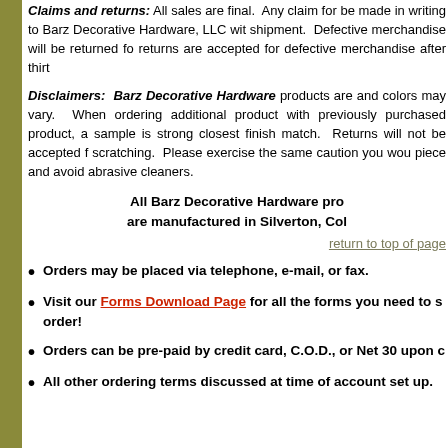Claims and returns: All sales are final. Any claim for be made in writing to Barz Decorative Hardware, LLC with shipment. Defective merchandise will be returned fo returns are accepted for defective merchandise after thirt
Disclaimers: Barz Decorative Hardware products are and colors may vary. When ordering additional product with previously purchased product, a sample is strong closest finish match. Returns will not be accepted f scratching. Please exercise the same caution you wou piece and avoid abrasive cleaners.
All Barz Decorative Hardware pro are manufactured in Silverton, Col
return to top of page
Orders may be placed via telephone, e-mail, or fax.
Visit our Forms Download Page for all the forms you need to s order!
Orders can be pre-paid by credit card, C.O.D., or Net 30 upon c
All other ordering terms discussed at time of account set up.